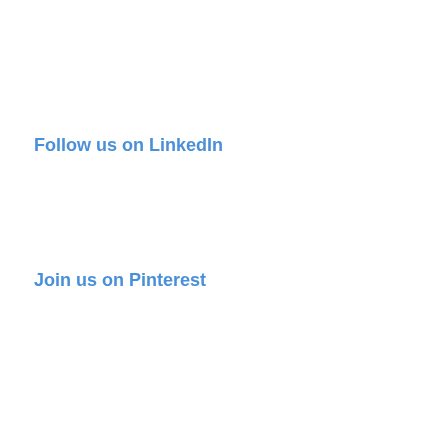Follow us on LinkedIn
Join us on Pinterest
| Karachi | Lahore |
| Islamabad | Rawalpindi |
| Sahiwal | Quetta |